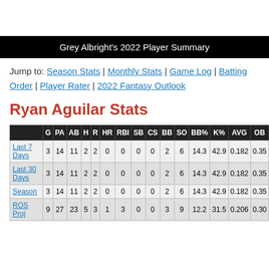Grey Albright's 2022 Player Summary
Jump to: Season Stats | Monthly Stats | Game Log | Batting Order | Player Rater | 2022 Fantasy Outlook
Ryan Aguilar Stats
|  | G | PA | AB | H | R | HR | RBI | SB | CS | BB | SO | BB% | K% | AVG | OB |
| --- | --- | --- | --- | --- | --- | --- | --- | --- | --- | --- | --- | --- | --- | --- | --- |
| Last 7 Days | 3 | 14 | 11 | 2 | 2 | 0 | 0 | 0 | 0 | 2 | 6 | 14.3 | 42.9 | 0.182 | 0.35 |
| Last 30 Days | 3 | 14 | 11 | 2 | 2 | 0 | 0 | 0 | 0 | 2 | 6 | 14.3 | 42.9 | 0.182 | 0.35 |
| Season | 3 | 14 | 11 | 2 | 2 | 0 | 0 | 0 | 0 | 2 | 6 | 14.3 | 42.9 | 0.182 | 0.35 |
| ROS Proj | 9 | 27 | 23 | 5 | 3 | 1 | 3 | 0 | 0 | 3 | 9 | 12.2 | 31.5 | 0.206 | 0.30 |